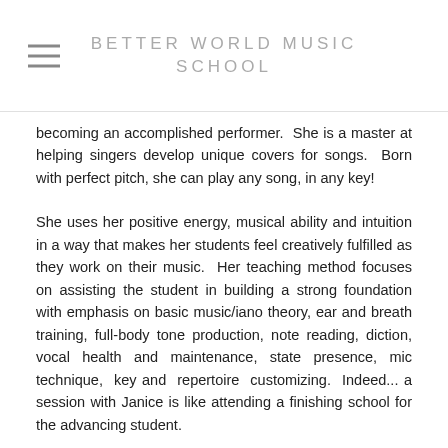BETTER WORLD MUSIC SCHOOL
becoming an accomplished performer.  She is a master at helping singers develop unique covers for songs.  Born with perfect pitch, she can play any song, in any key!
She uses her positive energy, musical ability and intuition in a way that makes her students feel creatively fulfilled as they work on their music.  Her teaching method focuses on assisting the student in building a strong foundation with emphasis on basic music/iano theory, ear and breath training, full-body tone production, note reading, diction, vocal health and maintenance, state presence, mic technique,  key and  repertoire  customizing.  Indeed... a session with Janice is like attending a finishing school for the advancing student.
As a career educator, Janice taught K-8 for 24 years, was chorus director for numerous high school